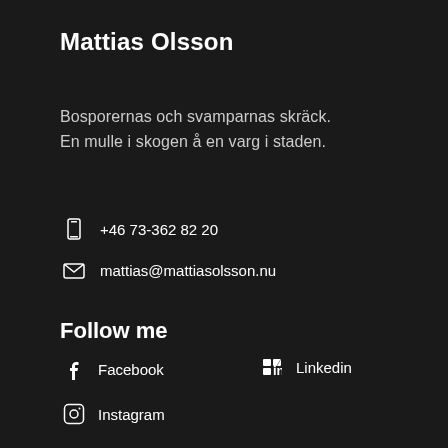Mattias Olsson
Bosporernas och svamparnas skräck.
En mulle i skogen å en varg i staden.
+46 73-362 82 20
mattias@mattiasolsson.nu
Follow me
Facebook
Linkedin
Instagram